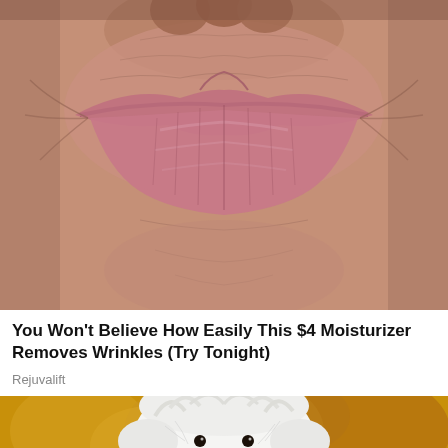[Figure (photo): Close-up macro photograph of an elderly person's extremely wrinkled lips and surrounding skin, showing deep texture and folds, pinkish-purple lips visible at top center]
You Won't Believe How Easily This $4 Moisturizer Removes Wrinkles (Try Tonight)
Rejuvalift
[Figure (photo): Close-up photograph of a small white fluffy dog (Maltese) looking directly at camera, with blurred warm bokeh background]